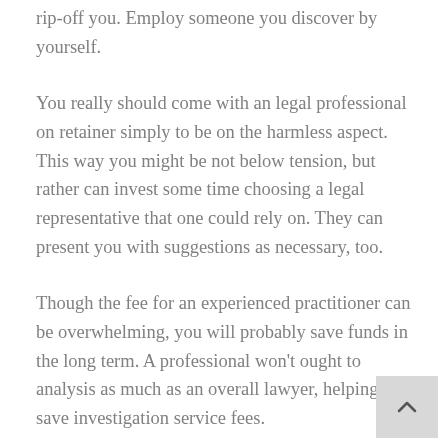rip-off you. Employ someone you discover by yourself.
You really should come with an legal professional on retainer simply to be on the harmless aspect. This way you might be not below tension, but rather can invest some time choosing a legal representative that one could rely on. They can present you with suggestions as necessary, too.
Though the fee for an experienced practitioner can be overwhelming, you will probably save funds in the long term. A professional won't ought to analysis as much as an overall lawyer, helping you save investigation service fees.
Avoid picking out the initially legal professional you find within the phone book. It's very essential that you do some research in the subject first. You don't want to